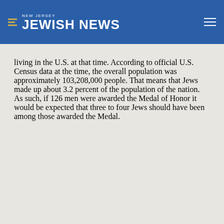NEW JERSEY JEWISH NEWS
living in the U.S. at that time. According to official U.S. Census data at the time, the overall population was approximately 103,208,000 people. That means that Jews made up about 3.2 percent of the population of the nation. As such, if 126 men were awarded the Medal of Honor it would be expected that three to four Jews should have been among those awarded the Medal.